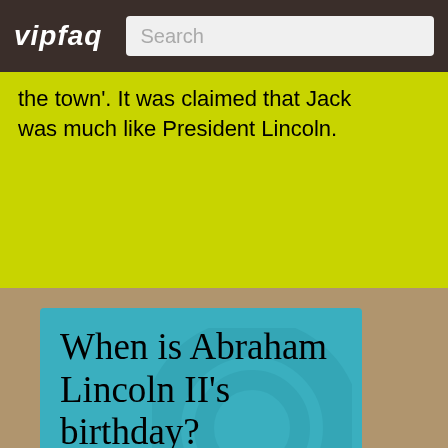vipfaq | Search
the town'. It was claimed that Jack was much like President Lincoln.
When is Abraham Lincoln II's birthday?
Abraham Lincoln II was born on the 14th of August 1873, which was a Thursday. Abraham Lincoln II's next birthday would be in 346 days (would be turning 150years old then).